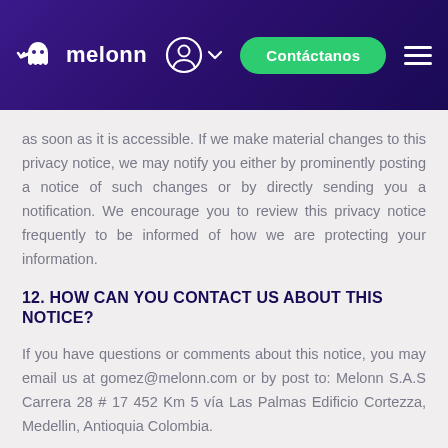[Figure (screenshot): Melonn website navigation header with logo, user icon, Contáctanos button, and hamburger menu on dark purple gradient background]
as soon as it is accessible. If we make material changes to this privacy notice, we may notify you either by prominently posting a notice of such changes or by directly sending you a notification. We encourage you to review this privacy notice frequently to be informed of how we are protecting your information.
12. HOW CAN YOU CONTACT US ABOUT THIS NOTICE?
If you have questions or comments about this notice, you may email us at gomez@melonn.com or by post to: Melonn S.A.S Carrera 28 # 17 452 Km 5 vía Las Palmas Edificio Cortezza, Medellin, Antioquia Colombia.